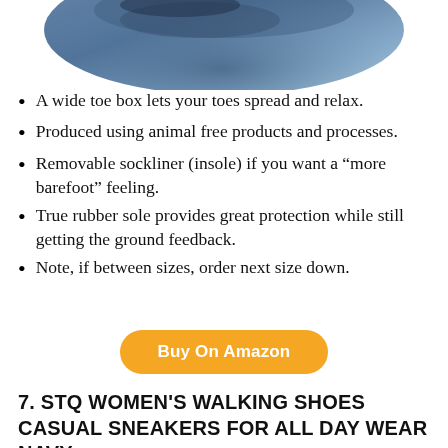[Figure (photo): Partial view of a blue/navy sneaker shoe from above, cropped at top of page]
A wide toe box lets your toes spread and relax.
Produced using animal free products and processes.
Removable sockliner (insole) if you want a “more barefoot” feeling.
True rubber sole provides great protection while still getting the ground feedback.
Note, if between sizes, order next size down.
Buy On Amazon
7. STQ WOMEN'S WALKING SHOES CASUAL SNEAKERS FOR ALL DAY WEAR NAVY